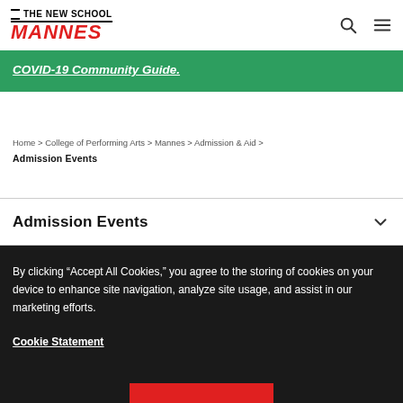THE NEW SCHOOL MANNES
COVID-19 Community Guide.
Home > College of Performing Arts > Mannes > Admission & Aid > Admission Events
Admission Events
By clicking “Accept All Cookies,” you agree to the storing of cookies on your device to enhance site navigation, analyze site usage, and assist in our marketing efforts.
Cookie Statement